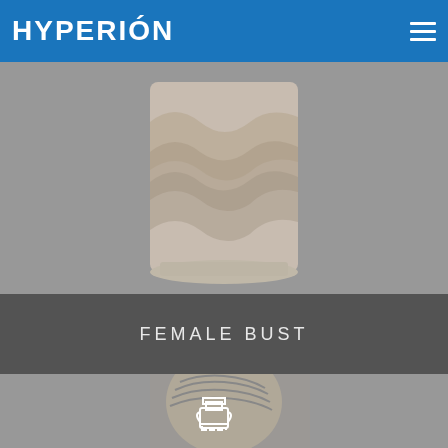HYPERIÓN
[Figure (photo): Photo of a classical marble female bust showing draped fabric around the torso on a circular pedestal, against a gray background]
FEMALE BUST
[Figure (photo): Photo of a classical marble female head with elaborate braided updo hairstyle, overlaid with a white line-art amphora/vase icon, against a gray background]